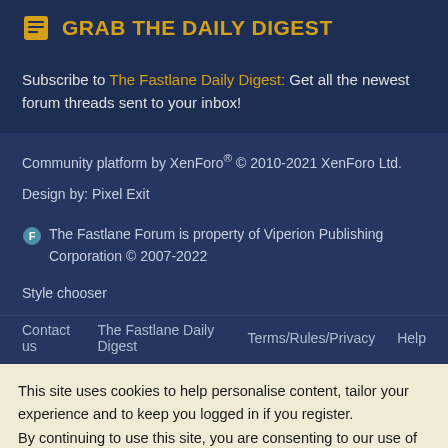GRAB THE DAILY DIGEST
Subscribe to The Fastlane Daily Digest:  Get all the newest forum threads sent to your inbox!
Community platform by XenForo® © 2010-2021 XenForo Ltd.
Design by: Pixel Exit
The Fastlane Forum is property of Viperion Publishing Corporation © 2007-2022
Style chooser
Contact us   The Fastlane Daily Digest   Terms/Rules/Privacy   Help
This site uses cookies to help personalise content, tailor your experience and to keep you logged in if you register. By continuing to use this site, you are consenting to our use of cookies.
Accept   Learn more...